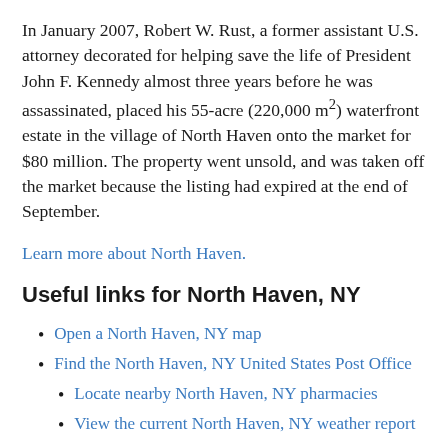In January 2007, Robert W. Rust, a former assistant U.S. attorney decorated for helping save the life of President John F. Kennedy almost three years before he was assassinated, placed his 55-acre (220,000 m²) waterfront estate in the village of North Haven onto the market for $80 million. The property went unsold, and was taken off the market because the listing had expired at the end of September.
Learn more about North Haven.
Useful links for North Haven, NY
Open a North Haven, NY map
Find the North Haven, NY United States Post Office
Locate nearby North Haven, NY pharmacies
View the current North Haven, NY weather report
Browse a list of North Haven, NY public and private schools